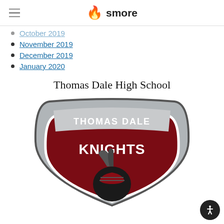smore
October 2019
November 2019
December 2019
January 2020
Thomas Dale High School
[Figure (logo): Thomas Dale High School Knights shield logo with a knight helmet on a dark red background, 'THOMAS DALE' text in gray banner at top and 'KNIGHTS' text in white across the middle.]